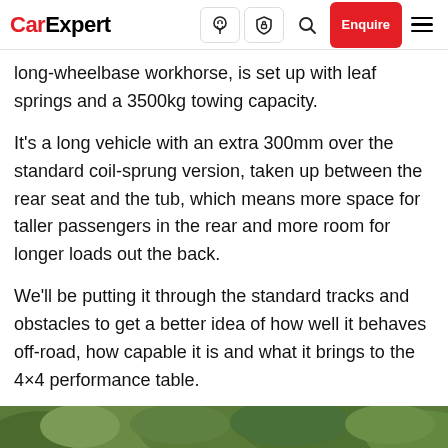CarExpert [nav icons] Enquire [menu]
long-wheelbase workhorse, is set up with leaf springs and a 3500kg towing capacity.
It's a long vehicle with an extra 300mm over the standard coil-sprung version, taken up between the rear seat and the tub, which means more space for taller passengers in the rear and more room for longer loads out the back.
We'll be putting it through the standard tracks and obstacles to get a better idea of how well it behaves off-road, how capable it is and what it brings to the 4×4 performance table.
[Figure (photo): Bottom strip of a photo showing green vegetation/trees, partially visible at the bottom of the page.]